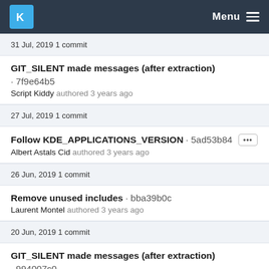KDE Menu
31 Jul, 2019 1 commit
GIT_SILENT made messages (after extraction) · 7f9e64b5
Script Kiddy authored 3 years ago
27 Jul, 2019 1 commit
Follow KDE_APPLICATIONS_VERSION · 5ad53b84
Albert Astals Cid authored 3 years ago
26 Jun, 2019 1 commit
Remove unused includes · bba39b0c
Laurent Montel authored 3 years ago
20 Jun, 2019 1 commit
GIT_SILENT made messages (after extraction) · 994007c0
Script Kiddy authored 3 years ago
31 May, 2019 2 commits